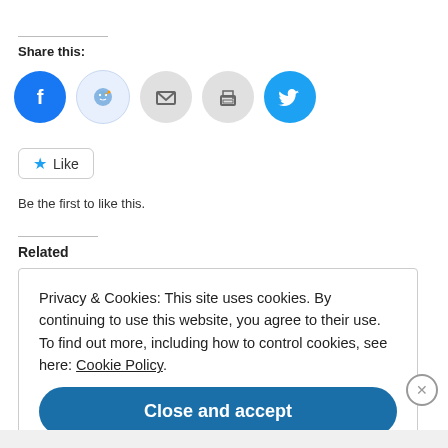Share this:
[Figure (other): Row of social sharing icon buttons: Facebook (blue circle), Reddit (light blue circle), Email (gray circle), Print (gray circle), Twitter (cyan circle)]
[Figure (other): Like button with star icon and text 'Like']
Be the first to like this.
Related
Privacy & Cookies: This site uses cookies. By continuing to use this website, you agree to their use.
To find out more, including how to control cookies, see here: Cookie Policy
Close and accept